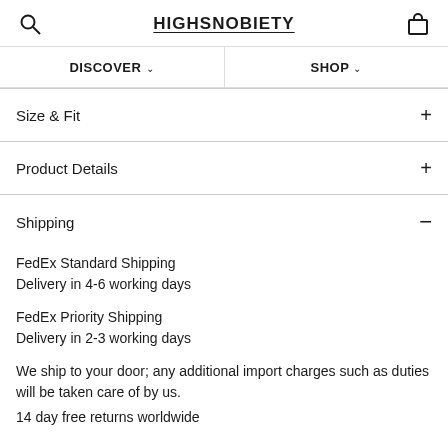HIGHSNOBIETY
DISCOVER  SHOP
Size & Fit
Product Details
Shipping
FedEx Standard Shipping
Delivery in 4-6 working days
FedEx Priority Shipping
Delivery in 2-3 working days
We ship to your door; any additional import charges such as duties will be taken care of by us.
14 day free returns worldwide